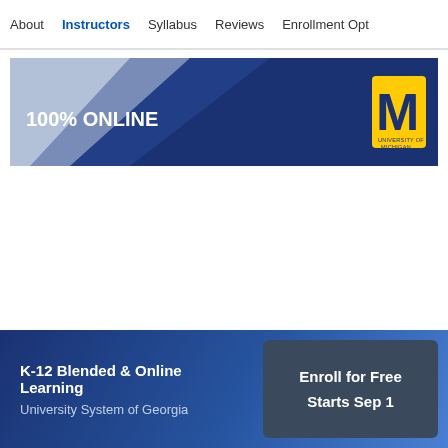About  Instructors  Syllabus  Reviews  Enrollment Opt
[Figure (illustration): University of Michigan 100% ONLINE banner with dark navy background, diagonal light-colored shapes, and Michigan M logo in yellow/gold on the right.]
K-12 Blended & Online Learning
University System of Georgia
Enroll for Free
Starts Sep 1